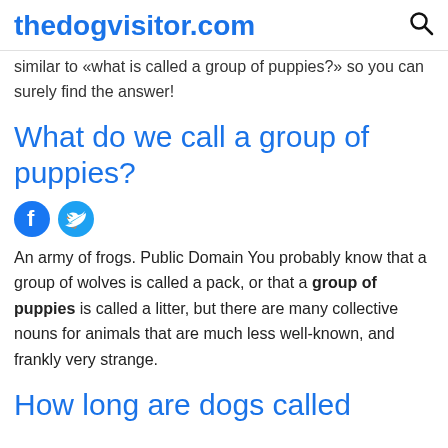thedogvisitor.com
similar to «what is called a group of puppies?» so you can surely find the answer!
What do we call a group of puppies?
[Figure (other): Facebook and Twitter social share icons]
An army of frogs. Public Domain You probably know that a group of wolves is called a pack, or that a group of puppies is called a litter, but there are many collective nouns for animals that are much less well-known, and frankly very strange.
How long are dogs called